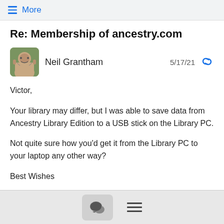≡ More
Re: Membership of ancestry.com
Neil Grantham  5/17/21
Victor,

Your library may differ, but I was able to save data from Ancestry Library Edition to a USB stick on the Library PC.

Not quite sure how you'd get it from the Library PC to your laptop any other way?

Best Wishes

Neil